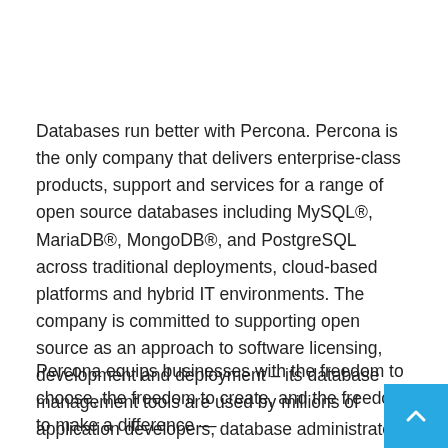Databases run better with Percona. Percona is the only company that delivers enterprise-class products, support and services for a range of open source databases including MySQL®, MariaDB®, MongoDB®, and PostgreSQL across traditional deployments, cloud-based platforms and hybrid IT environments. The company is committed to supporting open source as an approach to software licensing, development and deployment – its database management tools are used by millions of application developers, database administrators and IT professionals worldwide.
Percona equips businesses with the freedom to choose, the freedom to create, and the freedom to make a difference —